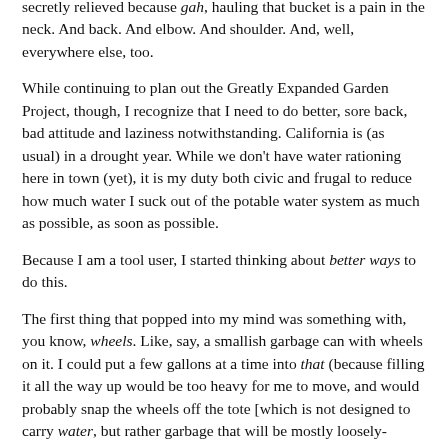secretly relieved because gah, hauling that bucket is a pain in the neck. And back. And elbow. And shoulder. And, well, everywhere else, too.
While continuing to plan out the Greatly Expanded Garden Project, though, I recognize that I need to do better, sore back, bad attitude and laziness notwithstanding. California is (as usual) in a drought year. While we don't have water rationing here in town (yet), it is my duty both civic and frugal to reduce how much water I suck out of the potable water system as much as possible, as soon as possible.
Because I am a tool user, I started thinking about better ways to do this.
The first thing that popped into my mind was something with, you know, wheels. Like, say, a smallish garbage can with wheels on it. I could put a few gallons at a time into that (because filling it all the way up would be too heavy for me to move, and would probably snap the wheels off the tote [which is not designed to carry water, but rather garbage that will be mostly loosely-packed things like packaging], which